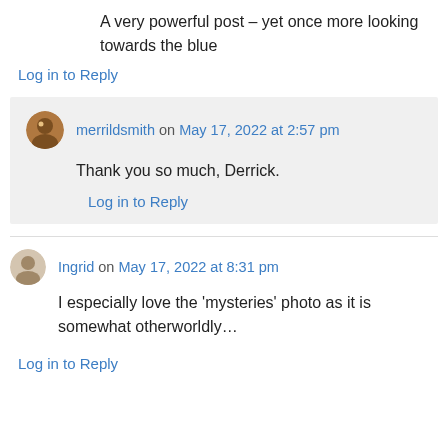A very powerful post – yet once more looking towards the blue
Log in to Reply
merrildsmith on May 17, 2022 at 2:57 pm
Thank you so much, Derrick.
Log in to Reply
Ingrid on May 17, 2022 at 8:31 pm
I especially love the 'mysteries' photo as it is somewhat otherworldly…
Log in to Reply